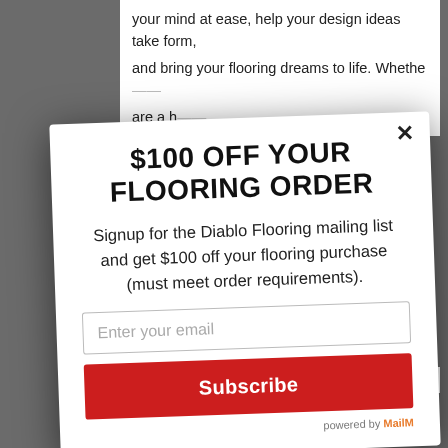your mind at ease, help your design ideas take form, and bring your flooring dreams to life. Whethe... are a h...
$100 OFF YOUR FLOORING ORDER
Signup for the Diablo Flooring mailing list and get $100 off your flooring purchase (must meet order requirements).
Enter your email
Subscribe
powered by MailM...
...efficient. Diablo Flooring, Inc
★★★★★ ...